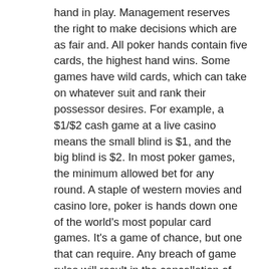hand in play. Management reserves the right to make decisions which are as fair and. All poker hands contain five cards, the highest hand wins. Some games have wild cards, which can take on whatever suit and rank their possessor desires. For example, a $1/$2 cash game at a live casino means the small blind is $1, and the big blind is $2. In most poker games, the minimum allowed bet for any round. A staple of western movies and casino lore, poker is hands down one of the world's most popular card games. It's a game of chance, but one that can require. Any breach of game rules will result in the cancellation of the bet and. Your guide to playing. Must be at least 21 years old to play slots, table games or to receive seminole In this case, players are saved from the lengthy registration procedures and disclosure of personal information, how to play smart on slot machines. In such slots, claiming comes in the shape